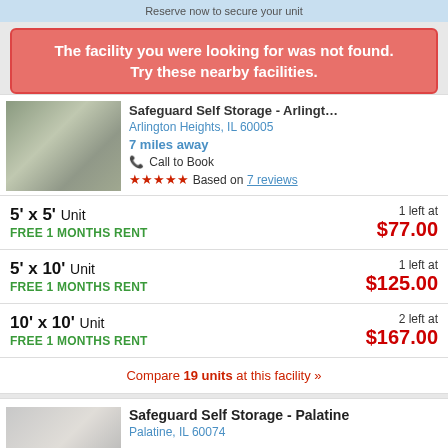Reserve now to secure your unit
The facility you were looking for was not found. Try these nearby facilities.
Safeguard Self Storage - Arlington Hts - Arl...
Arlington Heights, IL 60005
7 miles away
Call to Book
★★★★★ Based on 7 reviews
5' x 5' Unit
FREE 1 MONTHS RENT
1 left at $77.00
5' x 10' Unit
FREE 1 MONTHS RENT
1 left at $125.00
10' x 10' Unit
FREE 1 MONTHS RENT
2 left at $167.00
Compare 19 units at this facility »
Safeguard Self Storage - Palatine
Palatine, IL 60074